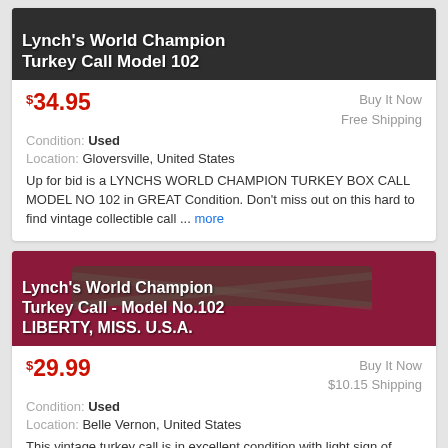[Figure (photo): Photo of Lynch's World Champion Turkey Call Model 102 with dark background, white bold title text overlaid]
$34.95 | Buy It Now | Free Shipping
Condition: Used
Location: Gloversville, United States
Up for bid is a LYNCHS WORLD CHAMPION TURKEY BOX CALL MODEL NO 102 in GREAT Condition. Don't miss out on this hard to find vintage collectible call ... more
[Figure (photo): Photo of Lynch's World Champion Turkey Call Model No.102 on red/magenta fabric background with white bold title text overlaid: Lynch's World Champion Turkey Call - Model No.102 LIBERTY, MISS. U.S.A.]
$29.99 | Buy It Now | $10.15 Shipping
Condition: Used
Location: Belle Vernon, United States
This vintage turkey call is in excellent condition with light sign of wear. Purchased at local estate sale and marked'Lynch's World Champion Turkey ...